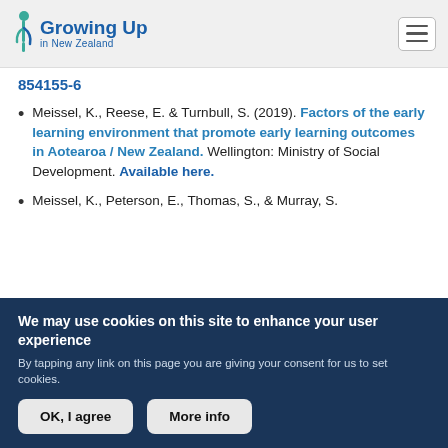Growing Up in New Zealand
854155-6
Meissel, K., Reese, E. & Turnbull, S. (2019). Factors of the early learning environment that promote early learning outcomes in Aotearoa / New Zealand. Wellington: Ministry of Social Development. Available here.
Meissel, K., Peterson, E., Thomas, S., & Murray, S.
We may use cookies on this site to enhance your user experience
By tapping any link on this page you are giving your consent for us to set cookies.
OK, I agree   More info